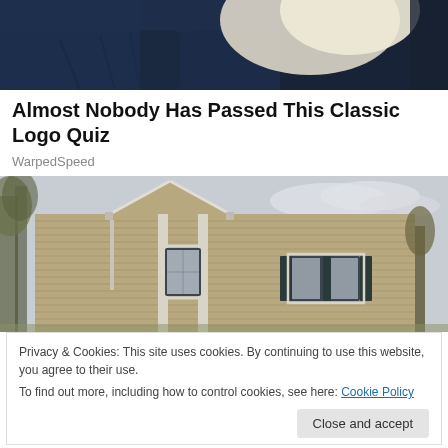[Figure (photo): Top portion of a person wearing a dark navy outfit with a cream/white scarf or collar, cropped to show only the torso/neck area]
Almost Nobody Has Passed This Classic Logo Quiz
WarpedSpeed
[Figure (photo): Exterior photo of a tan/beige vinyl-sided house with a peaked roof entry, windows with dark shutters, surrounded by bare trees in autumn/winter]
Privacy & Cookies: This site uses cookies. By continuing to use this website, you agree to their use.
To find out more, including how to control cookies, see here: Cookie Policy
Close and accept
[Find This] Homes and more: The real Moto...